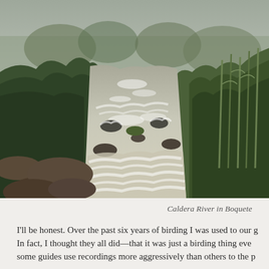[Figure (photo): A rushing turbulent river with white rapids flowing between rocky banks lined with dense green tropical vegetation, trees, and shrubs under an overcast grey sky. The river flows from the background into the foreground.]
Caldera River in Boquete
I'll be honest. Over the past six years of birding I was used to our g In fact, I thought they all did—that it was just a birding thing eve some guides use recordings more aggressively than others to the p